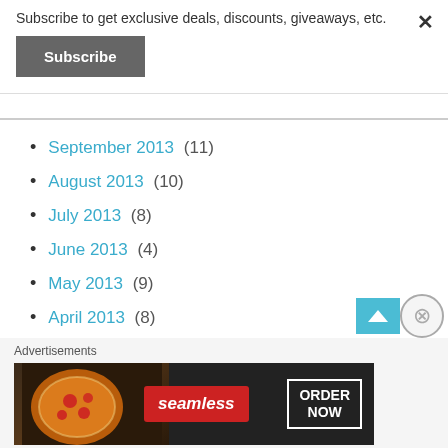Subscribe to get exclusive deals, discounts, giveaways, etc.
Subscribe
September 2013 (11)
August 2013 (10)
July 2013 (8)
June 2013 (4)
May 2013 (9)
April 2013 (8)
March 2013 (7)
Advertisements
[Figure (screenshot): Seamless food delivery advertisement banner with pizza image, Seamless logo, and ORDER NOW button]